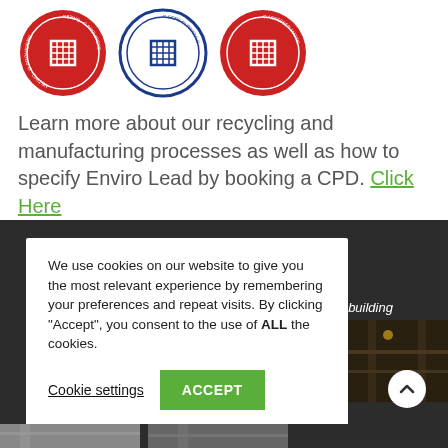[Figure (illustration): Three circular certification badges/logos. First and third are red circular badges, second is a blue circular badge. All appear to be accreditation/certification marks with a grid-like symbol in the center.]
Learn more about our recycling and manufacturing processes as well as how to specify Enviro Lead by booking a CPD. Click Here
[Figure (screenshot): Cookie consent modal overlay on a dark background. The modal reads: 'We use cookies on our website to give you the most relevant experience by remembering your preferences and repeat visits. By clicking "Accept", you consent to the use of ALL the cookies.' With two buttons: 'Cookie settings' and 'ACCEPT'. To the right, partially visible text reads 'to the building' and a photo of an interior space is partially visible.]